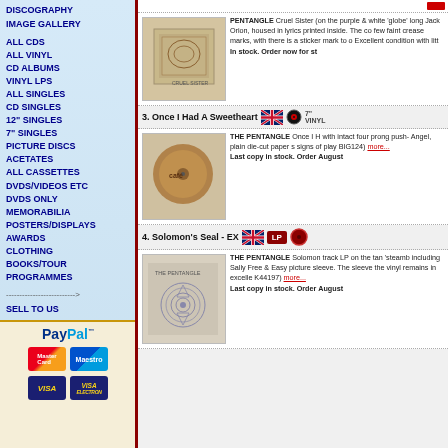DISCOGRAPHY
IMAGE GALLERY
ALL CDS
ALL VINYL
CD ALBUMS
VINYL LPS
ALL SINGLES
CD SINGLES
12" SINGLES
7" SINGLES
PICTURE DISCS
ACETATES
ALL CASSETTES
DVDS/VIDEOS ETC
DVDS ONLY
MEMORABILIA
POSTERS/DISPLAYS
AWARDS
CLOTHING
BOOKS/TOUR PROGRAMMES
--------------------------->
SELL TO US
[Figure (logo): PayPal logo with MasterCard, Maestro, VISA, VISA Electron card logos]
[Figure (photo): Album cover thumbnail - Pentangle Cruel Sister on purple & white globe label]
PENTANGLE Cruel Sister (on the purple & white 'globe' label, long Jack Orion, housed in lyrics printed inside. The co few faint crease marks, with there is a sticker mark to o Excellent condition with lith In stock. Order now for st
3. Once I Had A Sweetheart
[Figure (photo): 7" vinyl single - The Pentangle Once I Had A Sweetheart, tan label with four prong push-out, Angel label, plain die-cut paper sleeve]
THE PENTANGLE Once I Had A Sweetheart with intact four prong push-out Angel, plain die-cut paper sleeve signs of play BIG124) more... Last copy in stock. Order now, August
4. Solomon's Seal - EX
[Figure (photo): LP album cover - The Pentangle Solomon's Seal on tan steamboat label]
THE PENTANGLE Solomon's Seal track LP on the tan 'steamboat' label including Sally Free & Easy picture sleeve. The sleeve the vinyl remains in excelle K44197) more... Last copy in stock. Order now, August